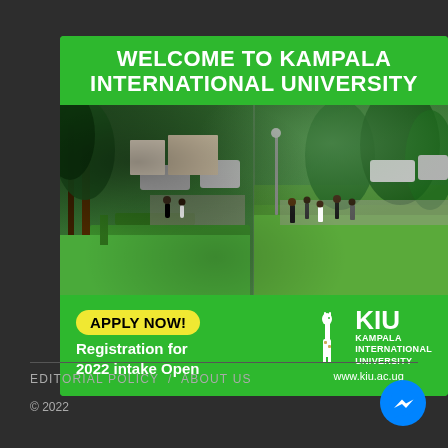[Figure (infographic): Kampala International University advertisement banner. Green background with white bold text header 'WELCOME TO KAMPALA INTERNATIONAL UNIVERSITY', campus photo showing students and green grounds, footer with yellow 'APPLY NOW!' button, 'Registration for 2022 intake Open' text, KIU giraffe logo, university name, and www.kiu.ac.ug website.]
EDITORIAL POLICY  /  ABOUT US
© 2022